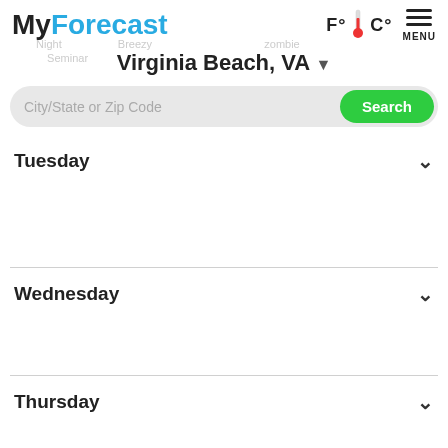MyForecast | F°🌡C° | MENU
Virginia Beach, VA ▾
City/State or Zip Code | Search
Tuesday
Wednesday
Thursday
Friday